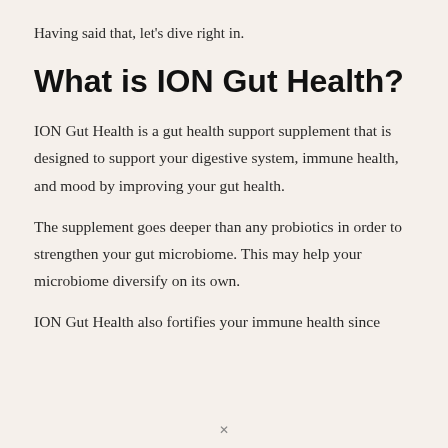Having said that, let’s dive right in.
What is ION Gut Health?
ION Gut Health is a gut health support supplement that is designed to support your digestive system, immune health, and mood by improving your gut health.
The supplement goes deeper than any probiotics in order to strengthen your gut microbiome. This may help your microbiome diversify on its own.
ION Gut Health also fortifies your immune health since
x